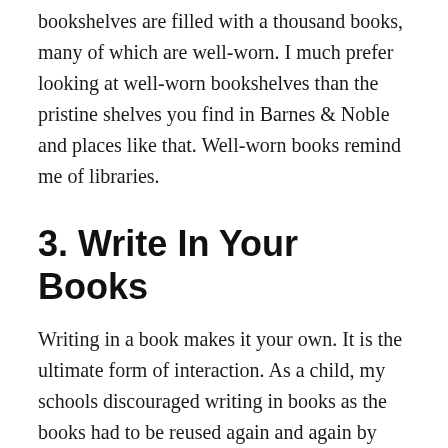bookshelves are filled with a thousand books, many of which are well-worn. I much prefer looking at well-worn bookshelves than the pristine shelves you find in Barnes & Noble and places like that. Well-worn books remind me of libraries.
3. Write In Your Books
Writing in a book makes it your own. It is the ultimate form of interaction. As a child, my schools discouraged writing in books as the books had to be reused again and again by other students. This made it hard for me to write in books as I got older, but I eventually shed those fears. I write in books constantly these days. I highlight passages, I make notes in the margins. I can come back to the book